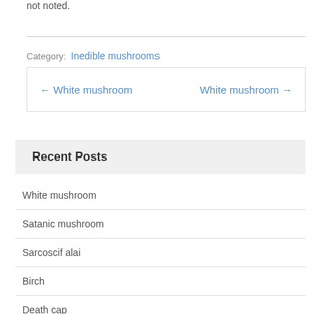not noted.
Category: Inedible mushrooms
← White mushroom    White mushroom →
Recent Posts
White mushroom
Satanic mushroom
Sarcoscif alai
Birch
Death cap
Polish mushroom